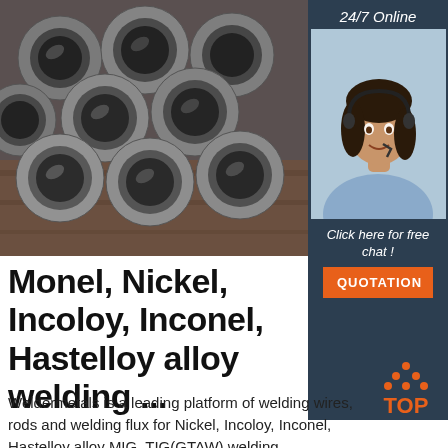[Figure (photo): Stack of metal pipes/tubes viewed from the end, showing circular cross-sections, in gray metallic tones on a wooden background]
[Figure (photo): 24/7 Online customer support widget with a female agent wearing a headset, dark background, with 'Click here for free chat!' text and an orange QUOTATION button]
Monel, Nickel, Incoloy, Inconel, Hastelloy alloy welding ...
[Figure (logo): TOP badge logo with orange dots arranged in triangle shape above orange text 'TOP']
Weldermetals is a leading platform of welding wires, rods and welding flux for Nickel, Incoloy, Inconel, Hastelloy alloy MIG, TIG(GTAW) welding ...